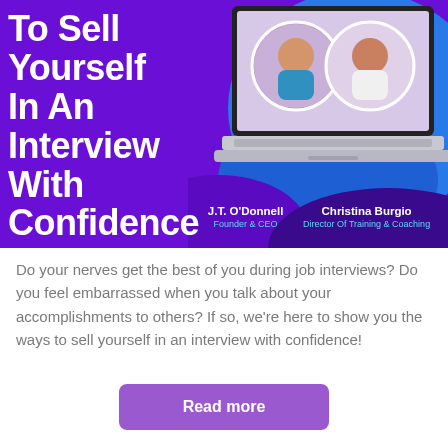[Figure (illustration): Promotional banner with purple background showing two circular headshots of J.T. O'Donnell (Founder & CEO) and Christina Burgio (Director Of Training & Coaching) displayed on a laptop screen, with a blue wave graphic and bold white title text 'To Sell Yourself In An Interview With Confidence'.]
Do your nerves get the best of you during job interviews? Do you feel embarrassed when you talk about your accomplishments to others? If so, we're here to show you the ways to sell yourself in an interview with confidence!
Read more